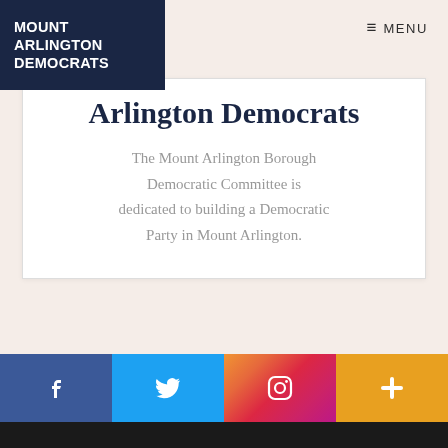MOUNT ARLINGTON DEMOCRATS
MENU
Arlington Democrats
The Mount Arlington Borough Democratic Committee is dedicated to building a Democratic Party in Mount Arlington.
[Figure (infographic): Social media link buttons: Facebook (blue), Twitter (light blue), Instagram (gradient), More/Plus (orange)]